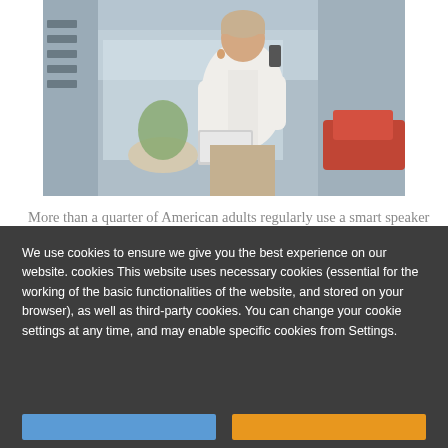[Figure (photo): Woman in white shirt holding a phone to her ear and carrying a laptop, standing outside in front of glass doors]
More than a quarter of American adults regularly use a smart speaker to play music, control their home electronics and conduct searches. Yet fewer than 4% of businesses provide correct information
We use cookies to ensure we give you the best experience on our website. cookies This website uses necessary cookies (essential for the working of the basic functionalities of the website, and stored on your browser), as well as third-party cookies. You can change your cookie settings at any time, and may enable specific cookies from Settings.